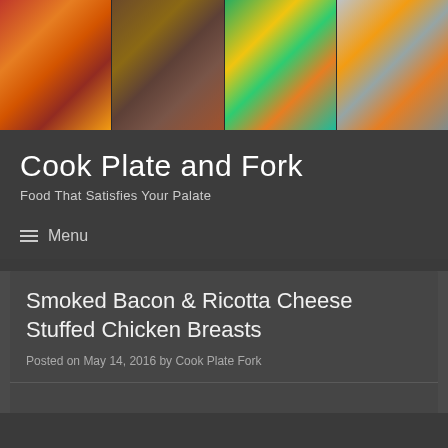[Figure (photo): Website header banner with four food photos: canned tomatoes with fresh tomatoes, pasta dish with sausage and herbs, avocado mango salad on green plate, and decorated dessert bars on a plate.]
Cook Plate and Fork
Food That Satisfies Your Palate
≡ Menu
Smoked Bacon & Ricotta Cheese Stuffed Chicken Breasts
Posted on May 14, 2016 by Cook Plate Fork